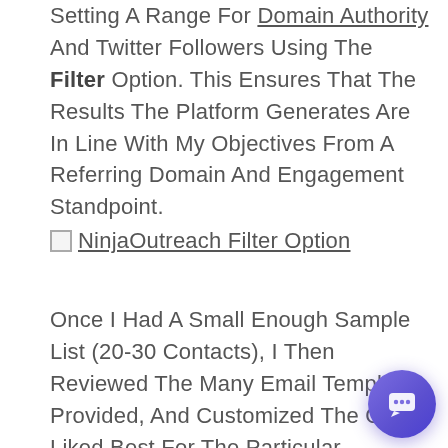Setting A Range For Domain Authority And Twitter Followers Using The Filter Option. This Ensures That The Results The Platform Generates Are In Line With My Objectives From A Referring Domain And Engagement Standpoint.
[Figure (screenshot): Broken image icon followed by link text: NinjaOutreach Filter Option]
Once I Had A Small Enough Sample List (20-30 Contacts), I Then Reviewed The Many Email Templates Provided, And Customized The One I Liked Best For The Particular Campaign, And Saved It As A Custom Template.